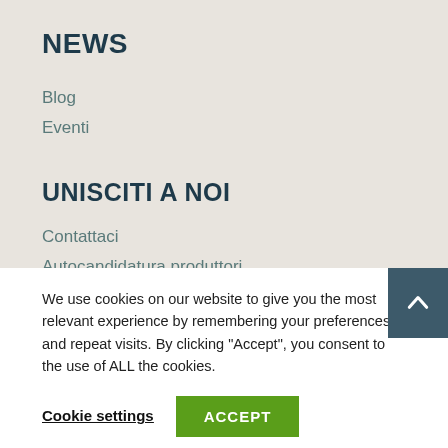NEWS
Blog
Eventi
UNISCITI A NOI
Contattaci
Autocandidatura produttori
We use cookies on our website to give you the most relevant experience by remembering your preferences and repeat visits. By clicking “Accept”, you consent to the use of ALL the cookies.
Cookie settings
ACCEPT